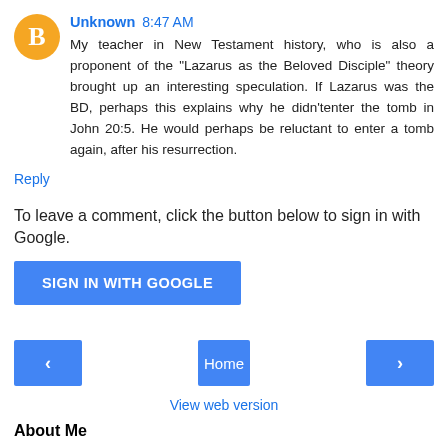Unknown 8:47 AM
My teacher in New Testament history, who is also a proponent of the "Lazarus as the Beloved Disciple" theory brought up an interesting speculation. If Lazarus was the BD, perhaps this explains why he didn'tenter the tomb in John 20:5. He would perhaps be reluctant to enter a tomb again, after his resurrection.
Reply
To leave a comment, click the button below to sign in with Google.
SIGN IN WITH GOOGLE
‹
Home
›
View web version
About Me